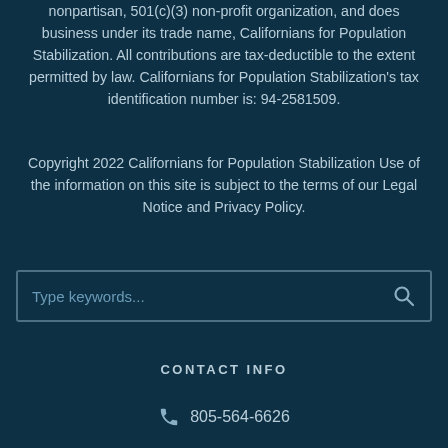nonpartisan, 501(c)(3) non-profit organization, and does business under its trade name, Californians for Population Stabilization. All contributions are tax-deductible to the extent permitted by law. Californians for Population Stabilization's tax identification number is: 94-2581509.
Copyright 2022 Californians for Population Stabilization Use of the information on this site is subject to the terms of our Legal Notice and Privacy Policy.
[Figure (other): Search box with placeholder text 'Type keywords...' and a search icon on the right]
CONTACT INFO
805-564-6626